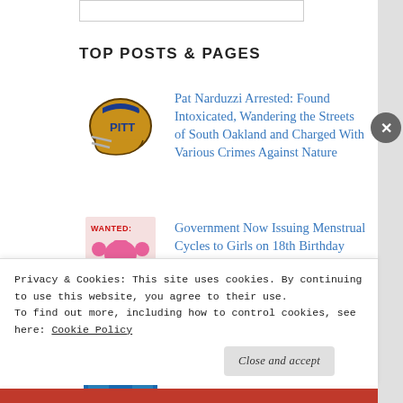TOP POSTS & PAGES
Pat Narduzzi Arrested: Found Intoxicated, Wandering the Streets of South Oakland and Charged With Various Crimes Against Nature
Government Now Issuing Menstrual Cycles to Girls on 18th Birthday
My trip to IKEA
Privacy & Cookies: This site uses cookies. By continuing to use this website, you agree to their use.
To find out more, including how to control cookies, see here: Cookie Policy
Close and accept